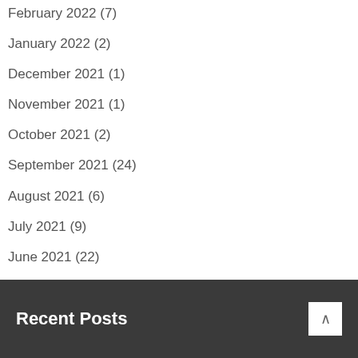February 2022 (7)
January 2022 (2)
December 2021 (1)
November 2021 (1)
October 2021 (2)
September 2021 (24)
August 2021 (6)
July 2021 (9)
June 2021 (22)
Recent Posts